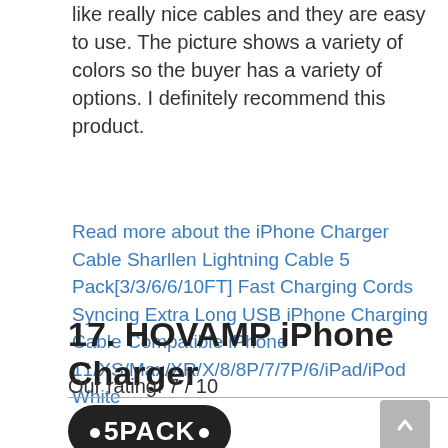like really nice cables and they are easy to use. The picture shows a variety of colors so the buyer has a variety of options. I definitely recommend this product.
Read more about the iPhone Charger Cable Sharllen Lightning Cable 5 Pack[3/3/6/6/10FT] Fast Charging Cords Syncing Extra Long USB iPhone Charging Cable Compatible iPhone 11/XS/Max/XR/X/8/8P/7/7P/6/iPad/iPod White
17. HOVAMP iPhone Charger
Our rating: 7 / 10
[Figure (logo): A black oval badge with white dots and the text '5PACK' in white bold letters]